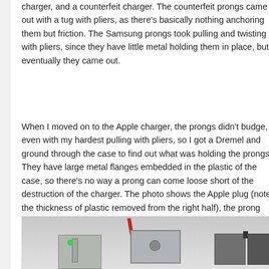charger, and a counterfeit charger. The counterfeit prongs came out with a tug with pliers, as there's basically nothing anchoring them but friction. The Samsung prongs took pulling and twisting with pliers, since they have little metal holding them in place, but eventually they came out.
When I moved on to the Apple charger, the prongs didn't budge, even with my hardest pulling with pliers, so I got a Dremel and ground through the case to find out what was holding the prongs. They have large metal flanges embedded in the plastic of the case, so there's no way a prong can come loose short of the destruction of the charger. The photo shows the Apple plug (note the thickness of plastic removed from the right half), the prong from the counterfeit charger held in only by friction, and the Samsung prong held in by small bumps and metal tabs.
[Figure (photo): Photo showing disassembled charger prongs: Apple plug with plastic ground away showing metal flanges, counterfeit charger prong held by friction, and Samsung prong with metal tabs. A red wire is visible. Components are laid out on a light background.]